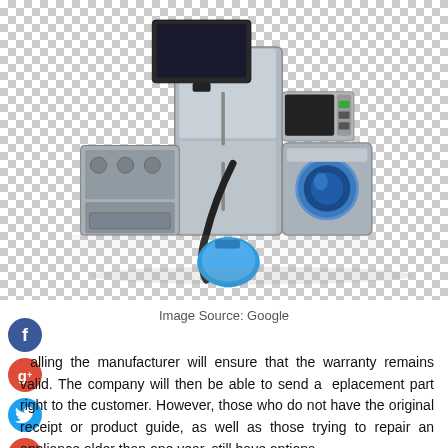[Figure (photo): Collection of household appliances including a refrigerator, stove/oven, TV, microwave, washing machine, coffee maker, and a blue vacuum cleaner, arranged together on a reflective surface against a checkered (transparent) background.]
Image Source: Google
Calling the manufacturer will ensure that the warranty remains valid. The company will then be able to send a replacement part right to the customer. However, those who do not have the original receipt or product guide, as well as those trying to repair an appliance older than one year, still have options.